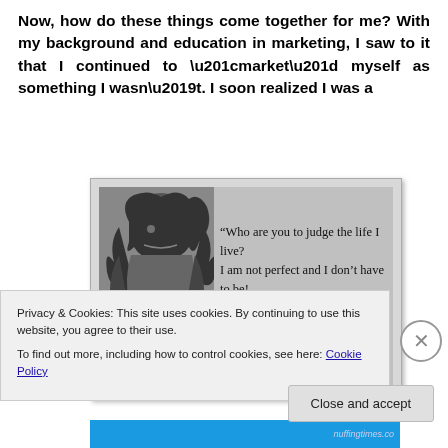Now, how do these things come together for me? With my background and education in marketing, I saw to it that I continued to “market” myself as something I wasn’t. I soon realized I was a
[Figure (photo): Black and white photo of a person with dreadlocks smiling, with a quote text overlay: “Who are you to judge the life I live? I am not perfect and I don’t have to be! Before you start pointing fingers, make sure your hands are clean.”]
Privacy & Cookies: This site uses cookies. By continuing to use this website, you agree to their use.
To find out more, including how to control cookies, see here: Cookie Policy
Close and accept